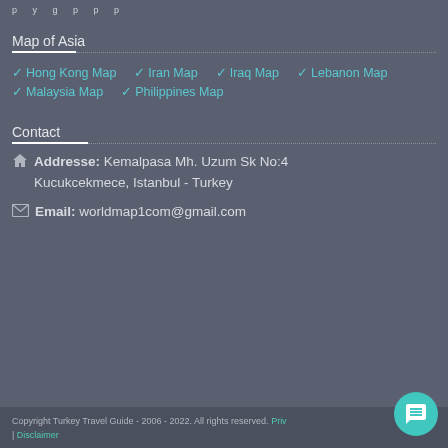p y g p p p
Map of Asia
✔ Hong Kong Map
✔ Iran Map
✔ Iraq Map
✔ Lebanon Map
✔ Malaysia Map
✔ Philippines Map
Contact
🏠 Addresse: Kemalpasa Mh. Uzum Sk No:4 Kucukcekmece, Istanbul - Turkey
✉ Email: worldmap1com@gmail.com
Copyright Turkey Travel Guide - 2006 - 2022. All rights reserved. Privacy | Disclaimer